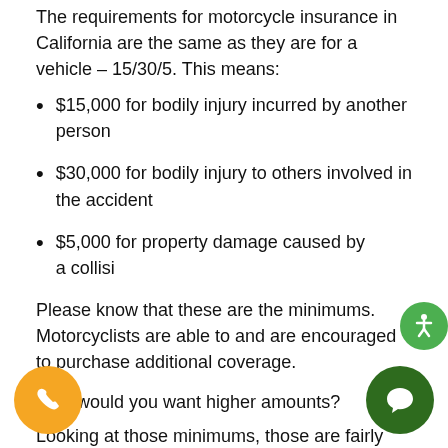The requirements for motorcycle insurance in California are the same as they are for a vehicle – 15/30/5. This means:
$15,000 for bodily injury incurred by another person
$30,000 for bodily injury to others involved in the accident
$5,000 for property damage caused by a collisi
Please know that these are the minimums. Motorcyclists are able to and are encouraged to purchase additional coverage.
Why would you want higher amounts?
Looking at those minimums, those are fairly low